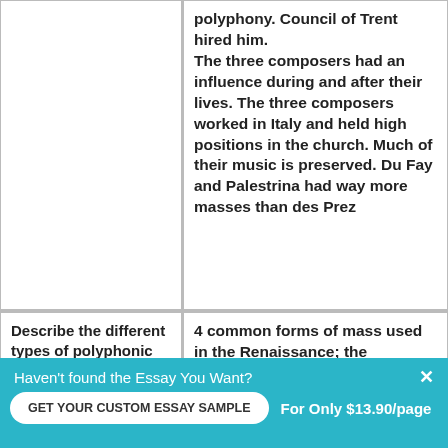polyphony. Council of Trent hired him. The three composers had an influence during and after their lives. The three composers worked in Italy and held high positions in the church. Much of their music is preserved. Du Fay and Palestrina had way more masses than des Prez
Describe the different types of polyphonic
4 common forms of mass used in the Renaissance; the plainsong mass
Haven't found the Essay You Want?
GET YOUR CUSTOM ESSAY SAMPLE
For Only $13.90/page